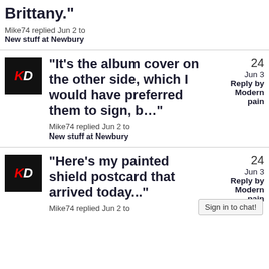Brittany." Mike74 replied Jun 2 to New stuff at Newbury
"It's the album cover on the other side, which I would have preferred them to sign, b…" Mike74 replied Jun 2 to New stuff at Newbury — 24 replies, Jun 3 Reply by Modern pain
"Here's my painted shield postcard that arrived today..." Mike74 replied Jun 2 to — 24 replies, Jun 3 Reply by Modern pain